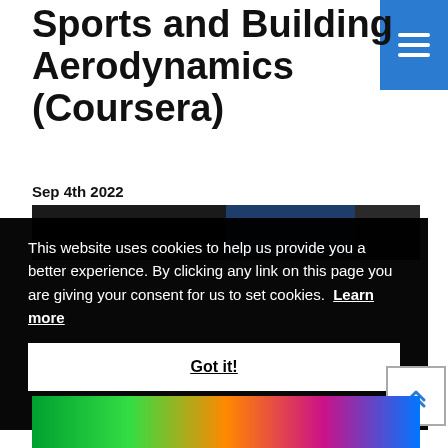Sports and Building Aerodynamics (Coursera)
Sep 4th 2022
[Figure (photo): Dark photo strip showing aerodynamics-related imagery]
This website uses cookies to help us provide you a better experience. By clicking any link on this page you are giving your consent for us to set cookies. Learn more
Got it!
[Figure (photo): Colorful aerodynamics simulation image at bottom of page]